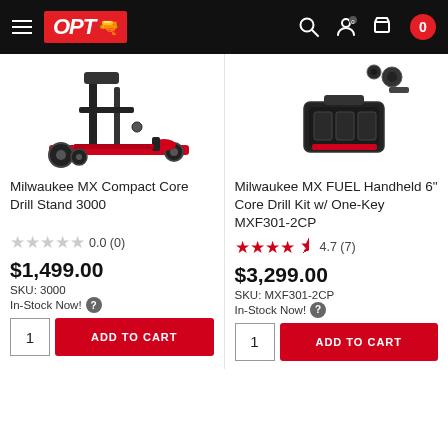[Figure (logo): OPT logo with gun icon on red background in black header bar with hamburger menu and cart icon showing 0]
[Figure (photo): Milwaukee MX Compact Core Drill Stand 3000 - red and black floor jack/drill stand with wheels]
Milwaukee MX Compact Core Drill Stand 3000
0.0 (0)
$1,499.00
SKU: 3000
In-Stock Now!
[Figure (photo): Milwaukee MX FUEL Handheld 6 inch Core Drill Kit with One-Key MXF301-2CP - partial view showing battery and drill components]
Milwaukee MX FUEL Handheld 6" Core Drill Kit w/ One-Key MXF301-2CP
4.7 (7)
$3,299.00
SKU: MXF301-2CP
In-Stock Now!